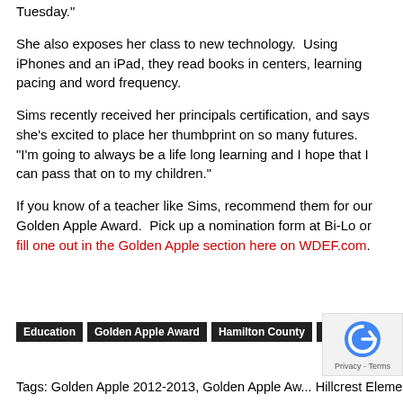Tuesday."
She also exposes her class to new technology.  Using iPhones and an iPad, they read books in centers, learning pacing and word frequency.
Sims recently received her principals certification, and says she's excited to place her thumbprint on so many futures.  "I'm going to always be a life long learning and I hope that I can pass that on to my children."
If you know of a teacher like Sims, recommend them for our Golden Apple Award.  Pick up a nomination form at Bi-Lo or fill one out in the Golden Apple section here on WDEF.com.
Education
Golden Apple Award
Hamilton County
Local News
Tags: Golden Apple 2012-2013, Golden Apple Award, Hillcrest Elementary, school, Students